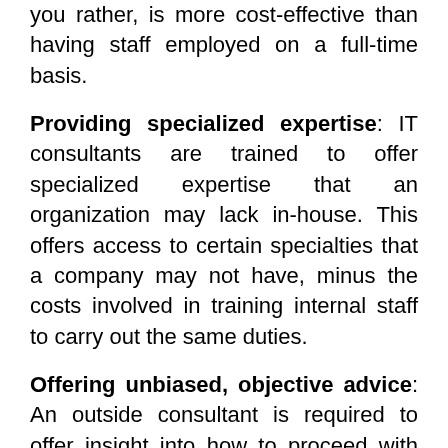you rather, is more cost-effective than having staff employed on a full-time basis.
Providing specialized expertise: IT consultants are trained to offer specialized expertise that an organization may lack in-house. This offers access to certain specialties that a company may not have, minus the costs involved in training internal staff to carry out the same duties.
Offering unbiased, objective advice: An outside consultant is required to offer insight into how to proceed with various technological changes, upgrades or other choices that a small business and its day-to-day operations could be faced with. The good thing with an outside IT consultant with respect to this is that they are not biased in their selection